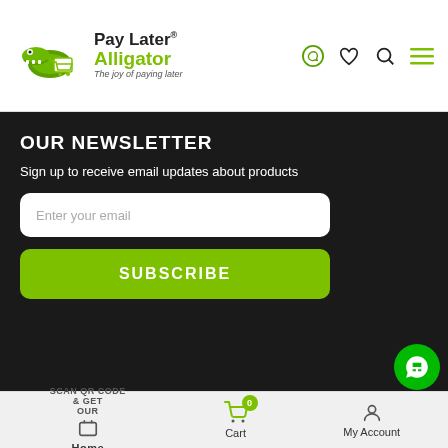[Figure (logo): Pay Later Alligator logo with green alligator mascot and shopping cart, text 'Pay Later® Alligator - The joy of paying later']
OUR NEWSLETTER
Sign up to receive email updates about products
Enter your email
SUBSCRIBE
[Figure (other): QR code for scanning to download app]
[Figure (other): Google Play store badge]
[Figure (other): App Store badge]
SCAN QR CODE & GET OUR
Home  Cart 0  My Account